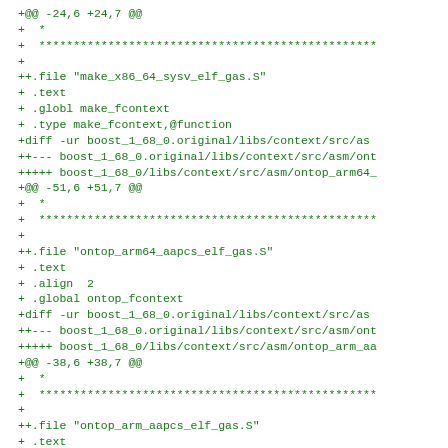+@@ -24,6 +24,7 @@
+  *
+  ****************************************************
+
++.file "make_x86_64_sysv_elf_gas.S"
+ .text
+ .globl make_fcontext
+ .type make_fcontext,@function
+diff -ur boost_1_68_0.original/libs/context/src/as
++--- boost_1_68_0.original/libs/context/src/asm/ont
+++++ boost_1_68_0/libs/context/src/asm/ontop_arm64_
+@@ -51,6 +51,7 @@
+  *
+  ****************************************************
+
+++.file "ontop_arm64_aapcs_elf_gas.S"
+ .text
+ .align  2
+ .global ontop_fcontext
+diff -ur boost_1_68_0.original/libs/context/src/as
++--- boost_1_68_0.original/libs/context/src/asm/ont
+++++ boost_1_68_0/libs/context/src/asm/ontop_arm_aa
+@@ -38,6 +38,7 @@
+  *
+  ****************************************************
+
+++.file "ontop_arm_aapcs_elf_gas.S"
+ .text
+ .globl ontop_fcontext
+ .align 2